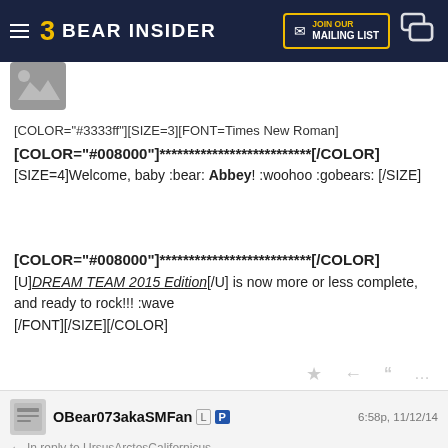3 BEAR INSIDER | JOIN OUR MAILING LIST
[Figure (other): User avatar placeholder with mountain/image icon]
[COLOR="#3333ff"][SIZE=3][FONT=Times New Roman]
[COLOR="#008000"]**************************[/COLOR]
[SIZE=4]Welcome, baby :bear: Abbey! :woohoo :gobears: [/SIZE]

[COLOR="#008000"]**************************[/COLOR]

[U]DREAM TEAM 2015 Edition[/U] is now more or less complete, and ready to rock!!! :wave
[/FONT][/SIZE][/COLOR]
OBear073akaSMFan  L  P  6:58p, 11/12/14
In reply to UrsusArctosCalifornicus
OMG congrats and welcome to Cal Abbey